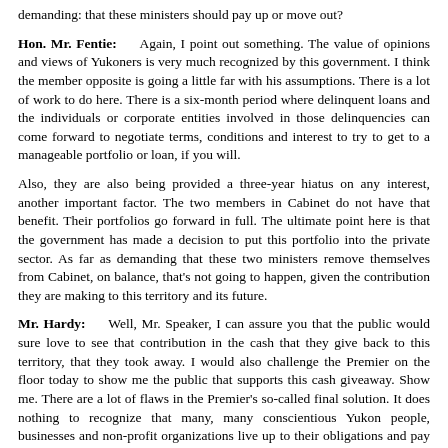demanding: that these ministers should pay up or move out?
Hon. Mr. Fentie: Again, I point out something. The value of opinions and views of Yukoners is very much recognized by this government. I think the member opposite is going a little far with his assumptions. There is a lot of work to do here. There is a six-month period where delinquent loans and the individuals or corporate entities involved in those delinquencies can come forward to negotiate terms, conditions and interest to try to get to a manageable portfolio or loan, if you will.
Also, they are also being provided a three-year hiatus on any interest, another important factor. The two members in Cabinet do not have that benefit. Their portfolios go forward in full. The ultimate point here is that the government has made a decision to put this portfolio into the private sector. As far as demanding that these two ministers remove themselves from Cabinet, on balance, that’s not going to happen, given the contribution they are making to this territory and its future.
Mr. Hardy: Well, Mr. Speaker, I can assure you that the public would sure love to see that contribution in the cash that they give back to this territory, that they took away. I would also challenge the Premier on the floor today to show me the public that supports this cash giveaway. Show me. There are a lot of flaws in the Premier’s so-called final solution. It does nothing to recognize that many, many conscientious Yukon people, businesses and non-profit organizations live up to their obligations and pay their loans. By turning over the loan files to private sector collection, there is also absolutely no guarantee that the Yukon businesses won’t end up having to file for bankruptcy or face major financial hardship.
Will the Premier withdraw this badly flawed policy and come back with something